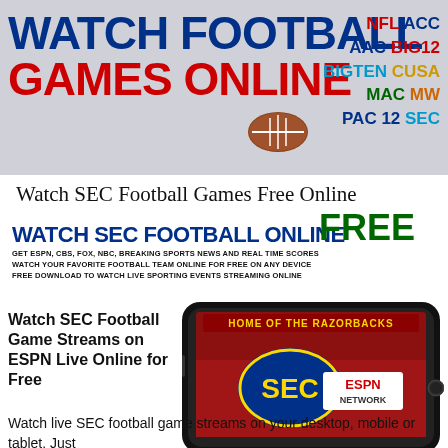[Figure (logo): Watch Football Games Online banner with conference logos (NFL, ACC, AAC, BIG12, BIGTEN, CUSA, MAC, MW, PAC12, SEC) and football icon]
Watch SEC Football Games Free Online
[Figure (infographic): Watch SEC Football Online banner with FREE text and subtext about ESPN, CBS, FOX, NBC sports streaming]
Watch SEC Football Game Streams on ESPN Live Online for Free
[Figure (photo): Smartphone displaying SEC ESPN Network logo with stadium crowd in background]
Watch live SEC football game streams on your desktop, mobile or tablet. Just